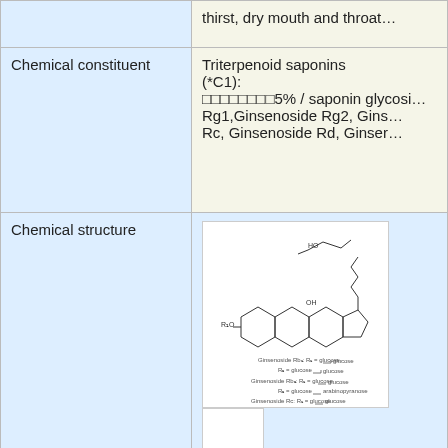| Property | Value |
| --- | --- |
|  | thirst, dry mouth and throat… |
| Chemical constituent | Triterpenoid saponins (*C1):
□□□□□□□□5% / saponin glycosi… Rg1,Ginsenoside Rg2, Gins… Rc, Ginsenoside Rd, Ginser… |
| Chemical structure | [chemical structure diagram] |
| DNA sequence | 18SrRNA: D85172(*S1), ma… U41689 rbcL:U50250; Tradi… |
| Disease | Mlaise, Thirst, Cough, Dysp… |
| Formulation | not used in formula… |